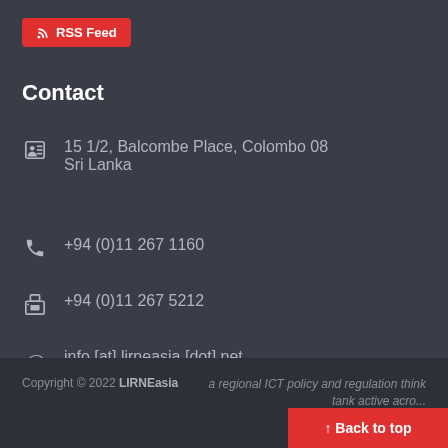[Figure (other): RSS Feed button with WiFi/RSS icon in red]
Contact
15 1/2, Balcombe Place, Colombo 08
Sri Lanka
+94 (0)11 267 1160
+94 (0)11 267 5212
info [at] lirneasia [dot] net
Copyright © 2022 LIRNEasia    a regional ICT policy and regulation think tank active acro...
[Figure (other): Back to top button in red at bottom right]